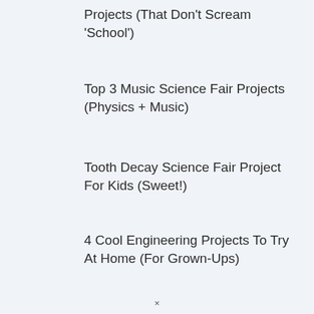Projects (That Don't Scream 'School')
Top 3 Music Science Fair Projects (Physics + Music)
Tooth Decay Science Fair Project For Kids (Sweet!)
4 Cool Engineering Projects To Try At Home (For Grown-Ups)
×